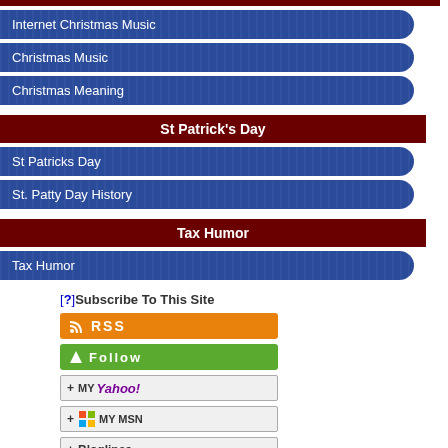Internet Christmas Music
Christmas Music
Christmas Meaning
St Patrick's Day
St Patricks Day
St. Patty Day History
Tax Humor
Tax Humor
[?]Subscribe To This Site
[Figure (infographic): RSS subscription button (orange)]
[Figure (infographic): Follow button (green)]
[Figure (infographic): Add to My Yahoo! button]
[Figure (infographic): Add to My MSN button]
[Figure (infographic): Add to Bloglines button]